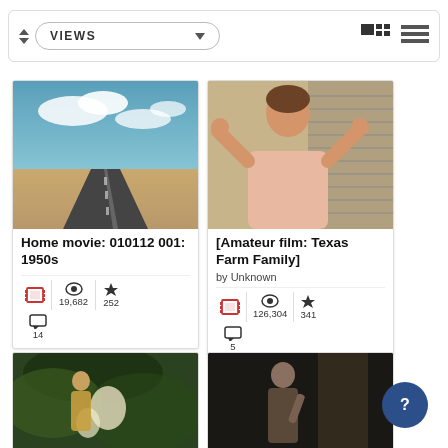[Figure (screenshot): Toolbar with sort arrows, VIEWS dropdown, grid/list view toggle icons]
[Figure (photo): Card 1: desert highway photo thumbnail, title 'Home movie: 010112 001: 1950s', stats: 19,682 views, 252 favorites, 14 comments]
Home movie: 010112 001: 1950s
19,682  252  14
[Figure (photo): Card 2: woman with hands on head photo thumbnail, title '[Amateur film: Texas Farm Family]', by Unknown, stats: 126,304 views, 341 favorites, 5 comments]
[Amateur film: Texas Farm Family]
by Unknown
126,304  341  5
[Figure (photo): Partial card bottom-left: woman in garden, cropped]
[Figure (photo): Partial card bottom-right: indoor scene, cropped]